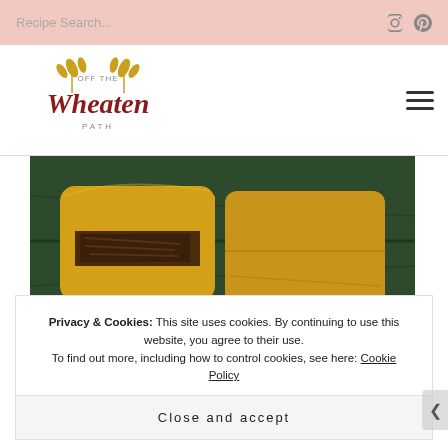Recipe Search...
[Figure (logo): Off The Wheaten Path logo with wheat stalks and brown cursive text]
[Figure (photo): Two golden tamales wrapped in banana leaves, one cut open to show meat filling, photographed on dark green leaves]
Privacy & Cookies: This site uses cookies. By continuing to use this website, you agree to their use.
To find out more, including how to control cookies, see here: Cookie Policy
Close and accept